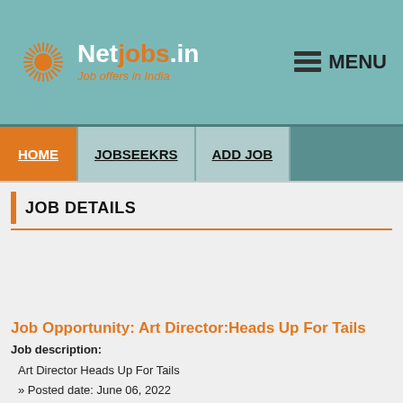[Figure (logo): Netjobs.in logo with sun/starburst icon and tagline 'Job offers in India']
MENU
HOME | JOBSEEKRS | ADD JOB
JOB DETAILS
Job Opportunity: Art Director:Heads Up For Tails
Job description:
Art Director Heads Up For Tails
» Posted date: June 06, 2022
» Gurgaon
About This Company